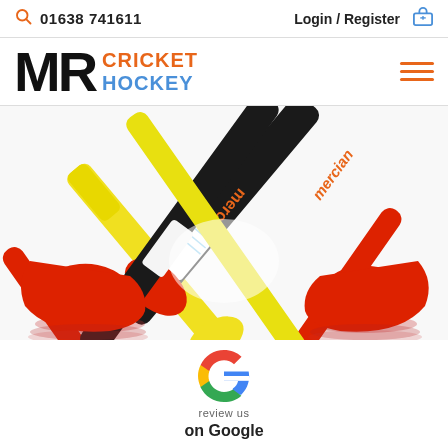01638 741611   Login / Register
[Figure (logo): MR Cricket Hockey logo with orange MR text and orange CRICKET / blue HOCKEY text]
[Figure (photo): Two Mercian hockey sticks crossed, one black with orange Mercian branding and red ends, one yellow, on white background with red shadow reflections]
[Figure (logo): Google 'G' logo in multicolor (red, yellow, green, blue) with text 'review us on Google' below]